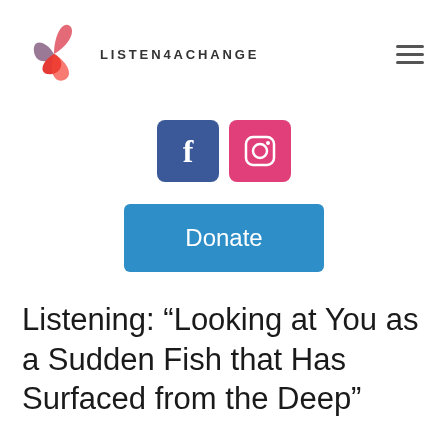[Figure (logo): Listen4AChange logo: swirling petals in red/pink/purple tones, with text LISTEN4ACHANGE in spaced capitals]
[Figure (infographic): Social media buttons: Facebook (blue rounded square with 'f') and Instagram (pink rounded square with camera icon)]
[Figure (infographic): Donate button: blue rounded rectangle with white text 'Donate']
Listening: “Looking at You as a Sudden Fish that Has Surfaced from the Deep”